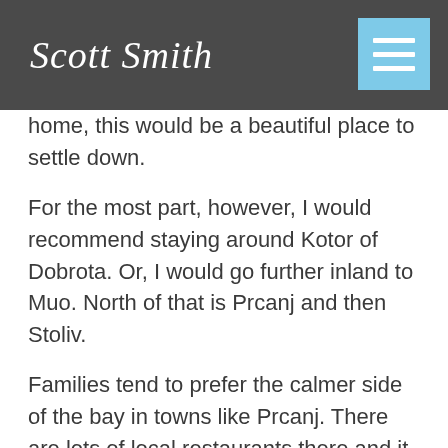Scott Smith
home, this would be a beautiful place to settle down.
For the most part, however, I would recommend staying around Kotor of Dobrota. Or, I would go further inland to Muo. North of that is Prcanj and then Stoliv.
Families tend to prefer the calmer side of the bay in towns like Prcanj. There are lots of local restaurants there and it has more of a local feel. There’s a lot going on in the summer, but it’s still relatively calm. And then you have the placid waters of the bay that aren’t affected